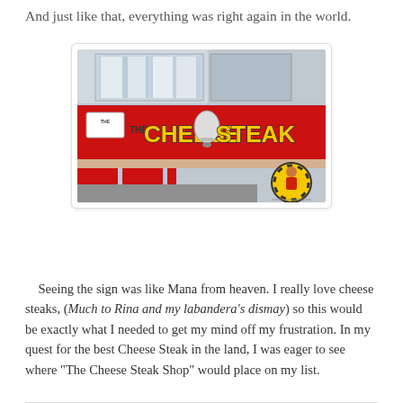And just like that, everything was right again in the world.
[Figure (photo): Exterior photo of 'The Cheese Steak Shop' storefront showing a red sign with bold yellow and black lettering reading 'THE CHEESE STEAK' with a bell logo in the center, and a circular logo in the bottom right corner.]
Seeing the sign was like Mana from heaven. I really love cheese steaks, (Much to Rina and my labandera's dismay) so this would be exactly what I needed to get my mind off my frustration. In my quest for the best Cheese Steak in the land, I was eager to see where "The Cheese Steak Shop" would place on my list.